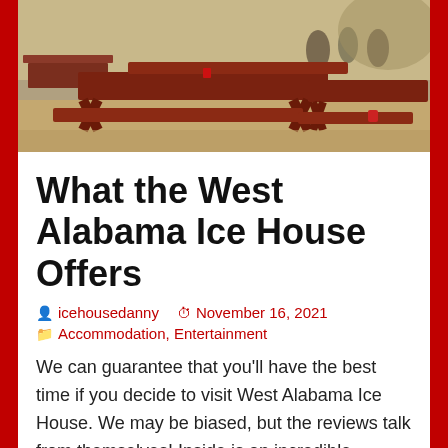[Figure (photo): Outdoor picnic tables painted dark reddish-brown at West Alabama Ice House, with people visible in the background under trees]
What the West Alabama Ice House Offers
icehousedanny   November 16, 2021   Accommodation, Entertainment
We can guarantee that you'll have the best time if you decide to visit West Alabama Ice House. We may be biased, but the reviews talk from themselves! Inside is an incredible restaurant, two bar areas, an entertainment area and even accommodation. Accommodation Our